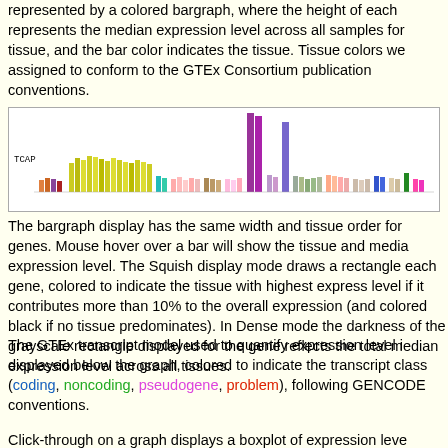represented by a colored bargraph, where the height of each represents the median expression level across all samples for tissue, and the bar color indicates the tissue. Tissue colors we assigned to conform to the GTEx Consortium publication conventions.
[Figure (bar-chart): GTEx tissue expression bargraph for TCAP gene showing colored bars of varying heights representing median expression levels across different tissues. Two prominent tall purple/violet bars stand out. Gene label 'TCAP' shown on left.]
The bargraph display has the same width and tissue order for genes. Mouse hover over a bar will show the tissue and media expression level. The Squish display mode draws a rectangle each gene, colored to indicate the tissue with highest express level if it contributes more than 10% to the overall expression (and colored black if no tissue predominates). In Dense mode the darkness of the grayscale rectangle displayed for the gene reflects the total median expression level across all tissues.
The GTEx transcript model used to quantify expression level is displayed below the graph, colored to indicate the transcript class (coding, noncoding, pseudogene, problem), following GENCODE conventions.
Click-through on a graph displays a boxplot of expression levels with all tissue options, along with links to the